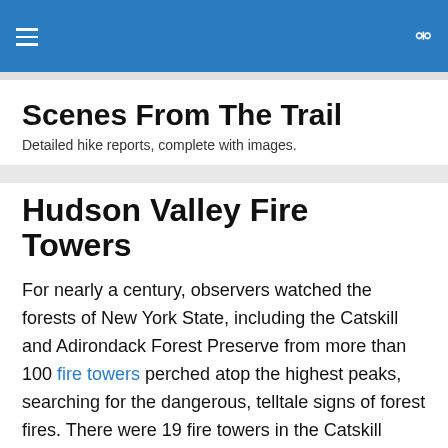≡  🔍
Scenes From The Trail
Detailed hike reports, complete with images.
Hudson Valley Fire Towers
For nearly a century, observers watched the forests of New York State, including the Catskill and Adirondack Forest Preserve from more than 100 fire towers perched atop the highest peaks, searching for the dangerous, telltale signs of forest fires. There were 19 fire towers in the Catskill region and 52 in the Adirondacks.
Beginning in the 1980's, the State of New York began to